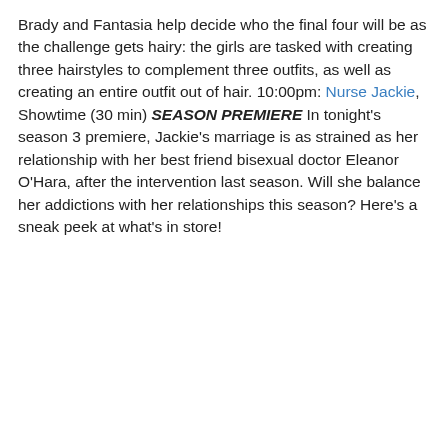Brady and Fantasia help decide who the final four will be as the challenge gets hairy: the girls are tasked with creating three hairstyles to complement three outfits, as well as creating an entire outfit out of hair. 10:00pm: Nurse Jackie, Showtime (30 min) SEASON PREMIERE In tonight's season 3 premiere, Jackie's marriage is as strained as her relationship with her best friend bisexual doctor Eleanor O'Hara, after the intervention last season. Will she balance her addictions with her relationships this season? Here's a sneak peek at what's in store!